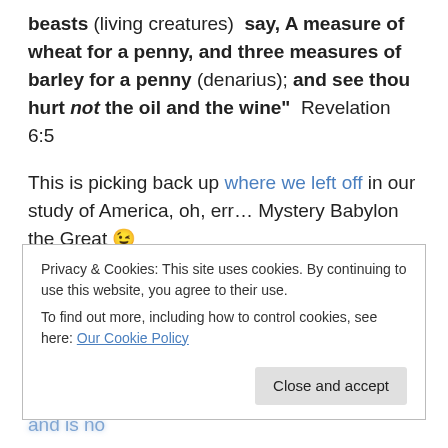beasts (living creatures) say, A measure of wheat for a penny, and three measures of barley for a penny (denarius); and see thou hurt not the oil and the wine" Revelation 6:5
This is picking back up where we left off in our study of America, oh, err… Mystery Babylon the Great 😉
Yeah, well we know it's not that much of a mystery now, and I am just going to get real honest right here… Now would be a really good time to let it sink in that the end time lady who brags that she sits a Queen and is no
Privacy & Cookies: This site uses cookies. By continuing to use this website, you agree to their use.
To find out more, including how to control cookies, see here: Our Cookie Policy